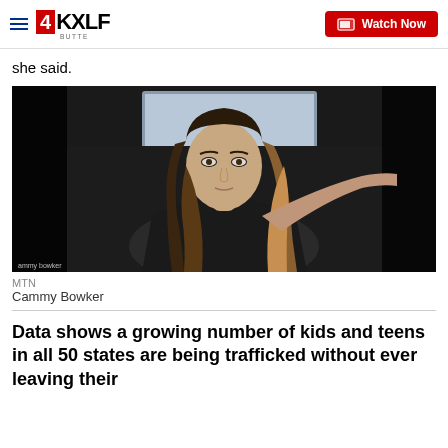4KXLF BUTTE | Watch Now
she said.
[Figure (photo): Woman with long dark blonde hair sitting in a car, wearing a black top, speaking. Watermark reads 'ammy bowker' in lower left corner. Black background on sides.]
MTN
Cammy Bowker
Data shows a growing number of kids and teens in all 50 states are being trafficked without ever leaving their